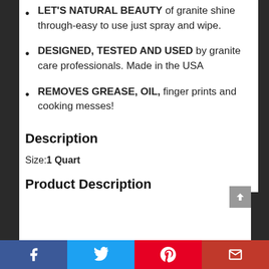LET'S NATURAL BEAUTY of granite shine through-easy to use just spray and wipe.
DESIGNED, TESTED AND USED by granite care professionals. Made in the USA
REMOVES GREASE, OIL, finger prints and cooking messes!
Description
Size: 1 Quart
Product Description